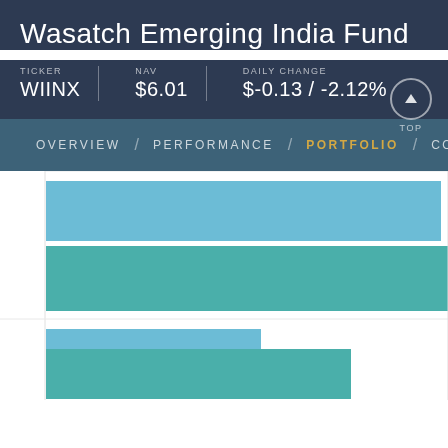Wasatch Emerging India Fund
TICKER WIINX / NAV $6.01 / DAILY CHANGE $-0.13 / -2.12%
OVERVIEW / PERFORMANCE / PORTFOLIO / COMME
[Figure (bar-chart): Horizontal bar chart showing portfolio allocation data. Four bars visible: two teal/lighter blue bars of different lengths and two teal/darker bars of different lengths, arranged in pairs with gaps between groups.]